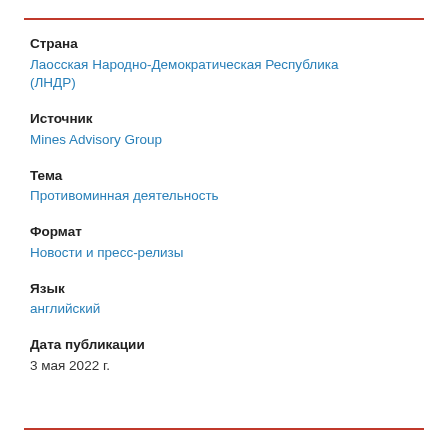Страна
Лаосская Народно-Демократическая Республика (ЛНДР)
Источник
Mines Advisory Group
Тема
Противоминная деятельность
Формат
Новости и пресс-релизы
Язык
английский
Дата публикации
3 мая 2022 г.